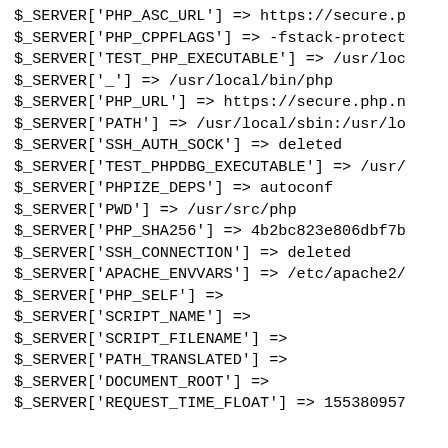$_SERVER['PHP_ASC_URL'] => https://secure.p
$_SERVER['PHP_CPPFLAGS'] => -fstack-protect
$_SERVER['TEST_PHP_EXECUTABLE'] => /usr/loc
$_SERVER['_'] => /usr/local/bin/php
$_SERVER['PHP_URL'] => https://secure.php.n
$_SERVER['PATH'] => /usr/local/sbin:/usr/lo
$_SERVER['SSH_AUTH_SOCK'] => deleted
$_SERVER['TEST_PHPDBG_EXECUTABLE'] => /usr/
$_SERVER['PHPIZE_DEPS'] => autoconf
$_SERVER['PWD'] => /usr/src/php
$_SERVER['PHP_SHA256'] => 4b2bc823e806dbf7b
$_SERVER['SSH_CONNECTION'] => deleted
$_SERVER['APACHE_ENVVARS'] => /etc/apache2/
$_SERVER['PHP_SELF'] =>
$_SERVER['SCRIPT_NAME'] =>
$_SERVER['SCRIPT_FILENAME'] =>
$_SERVER['PATH_TRANSLATED'] =>
$_SERVER['DOCUMENT_ROOT'] =>
$_SERVER['REQUEST_TIME_FLOAT'] => 155380957